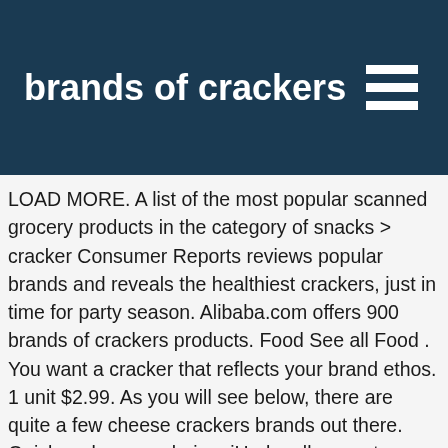brands of crackers
LOAD MORE. A list of the most popular scanned grocery products in the category of snacks > cracker Consumer Reports reviews popular brands and reveals the healthiest crackers, just in time for party season. Alibaba.com offers 900 brands of crackers products. Food See all Food . You want a cracker that reflects your brand ethos. 1 unit $2.99. As you will see below, there are quite a few cheese crackers brands out there. Quick and easy ordering. iHerb sells a vast selection of crackers, snacks, sandwich crackers and breadsticks. Discover Club® Cracker nutritional info and where to buy at Kellogg's. With a deep buttery flavor and flaky crunch, Club® Crackers are great for any occasion! Top 20 brands of crackers 21 items ranked. These brands make numerous different types of crackers, including saltines, graham crackers,